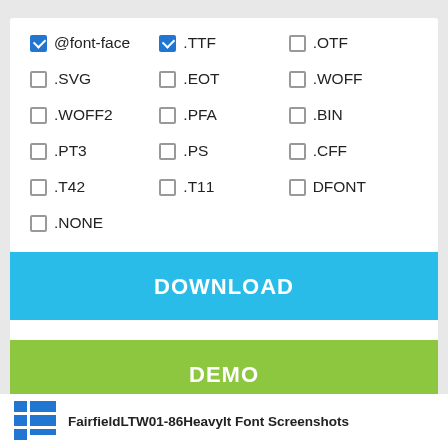@font-face (checked)
.TTF (checked)
.OTF (unchecked)
.SVG (unchecked)
.EOT (unchecked)
.WOFF (unchecked)
.WOFF2 (unchecked)
.PFA (unchecked)
.BIN (unchecked)
.PT3 (unchecked)
.PS (unchecked)
.CFF (unchecked)
.T42 (unchecked)
.T11 (unchecked)
DFONT (unchecked)
.NONE (unchecked)
DOWNLOAD
DEMO
FairfieldLTW01-86HeavyIt Font Screenshots